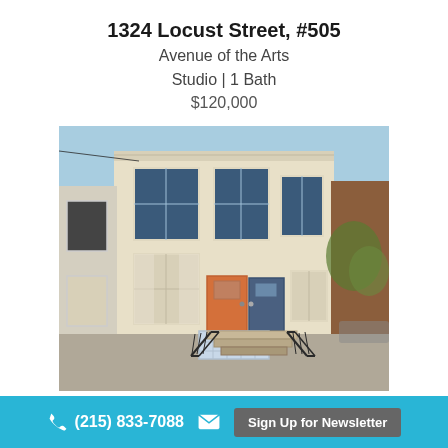1324 Locust Street, #505
Avenue of the Arts
Studio | 1 Bath
$120,000
[Figure (photo): Exterior photo of a cream/beige rowhouse with two stories, blue-framed windows, an orange front door and a blue door side by side, with black metal railings on front steps, and a glass block basement window.]
(215) 833-7088   Sign Up for Newsletter